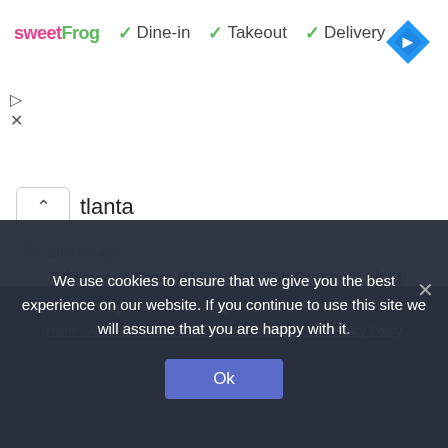[Figure (screenshot): sweetFrog ad banner with Dine-in, Takeout, Delivery checkmarks and a blue navigation diamond icon]
tlanta
10 mins ago
Takeaways From MLB's New Top Prospect List | Minnesota Twins Top Prospects
@2022 - All Right Reserved. Designed and Developed by RMFMUS
Home   About Us   Contact Us   Disclaimer   DMCA   Privacy Policy
We use cookies to ensure that we give you the best experience on our website. If you continue to use this site we will assume that you are happy with it.
Ok